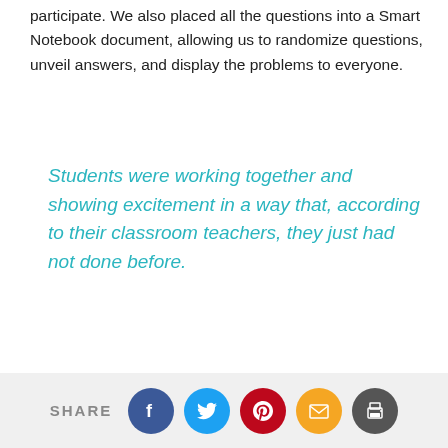participate. We also placed all the questions into a Smart Notebook document, allowing us to randomize questions, unveil answers, and display the problems to everyone.
Students were working together and showing excitement in a way that, according to their classroom teachers, they just had not done before.
The team in play had three minutes to write the correct answer on the main whiteboard, which encouraged them to find mistakes and try again if they missed the question. If the team got a "hit" on the other side, then that whole team worked together on the challenge question to try to save their player. We also added a "Minute to Win
SHARE [Facebook] [Twitter] [Pinterest] [Email] [Print]